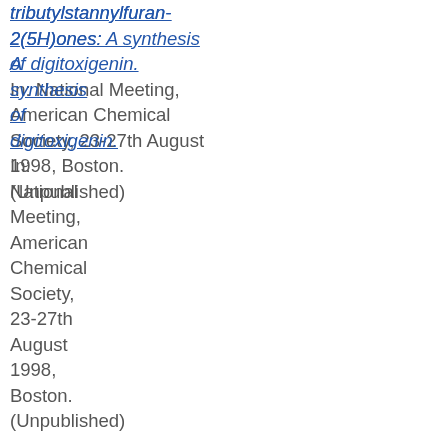tributylstannylfuran-2(5H)ones: A synthesis of digitoxigenin. In: National Meeting, American Chemical Society, 23-27th August 1998, Boston. (Unpublished)
Holt, Elizabeth (1998)